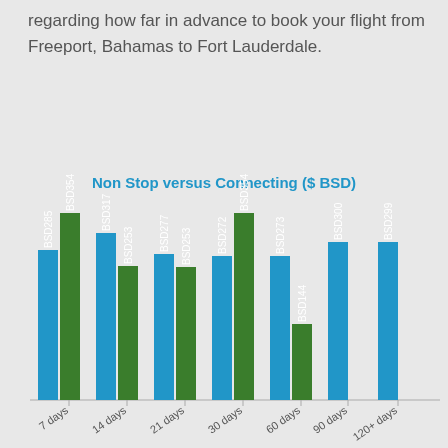regarding how far in advance to book your flight from Freeport, Bahamas to Fort Lauderdale.
[Figure (grouped-bar-chart): Non Stop versus Connecting ($ BSD)]